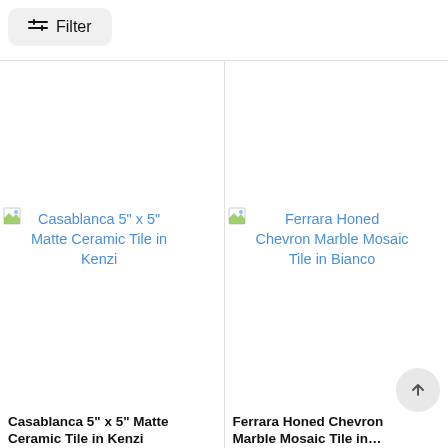Filter
[Figure (screenshot): Product image placeholder for Casablanca 5" x 5" Matte Ceramic Tile in Kenzi with broken image icon and blue link text]
[Figure (screenshot): Product image placeholder for Ferrara Honed Chevron Marble Mosaic Tile in Bianco with broken image icon and blue link text]
Casablanca 5" x 5" Matte Ceramic Tile in Kenzi
Ferrara Honed Chevron Marble Mosaic Tile in Bianco